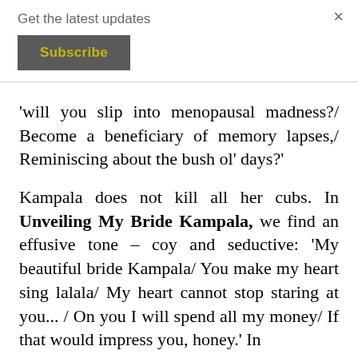Get the latest updates
Subscribe
×
'will you slip into menopausal madness?/ Become a beneficiary of memory lapses,/ Reminiscing about the bush ol' days?'
Kampala does not kill all her cubs. In Unveiling My Bride Kampala, we find an effusive tone – coy and seductive: 'My beautiful bride Kampala/ You make my heart sing lalala/ My heart cannot stop staring at you... / On you I will spend all my money/ If that would impress you, honey.' In